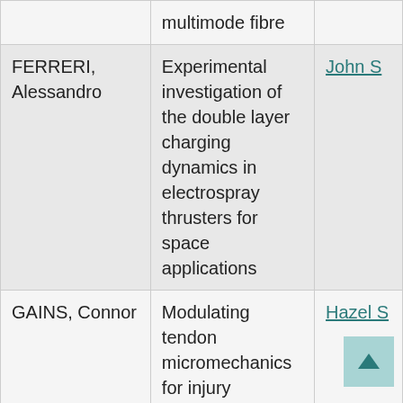| Name | Title | Supervisor |
| --- | --- | --- |
|  | multimode fibre |  |
| FERRERI, Alessandro | Experimental investigation of the double layer charging dynamics in electrospray thrusters for space applications | John S |
| GAINS, Connor | Modulating tendon micromachanics for injury prevention or management | Hazel S |
| KÃHNKEN-SAWALL, Jasmin | Substrate porosities modulate human mesenchymal stem cellÂ response to ... | Karin H |